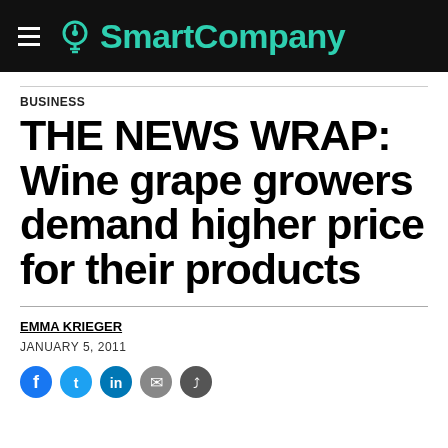SmartCompany
BUSINESS
THE NEWS WRAP: Wine grape growers demand higher price for their products
EMMA KRIEGER
JANUARY 5, 2011